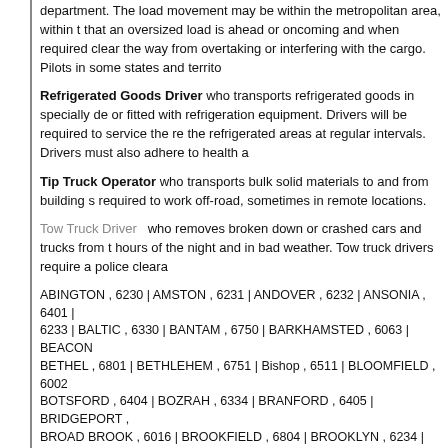department. The load movement may be within the metropolitan area, within the state, or interstate. Pilots must be alert to warn following traffic that an oversized load is ahead or oncoming and when required clear the way for the load and prevent other vehicles from overtaking or interfering with the cargo. Pilots in some states and territories are required to be licensed.
Refrigerated Goods Driver who transports refrigerated goods in specially designed refrigerated vans or trailers, or fitted with refrigeration equipment. Drivers will be required to service the refrigeration equipment and check temperature of the refrigerated areas at regular intervals. Drivers must also adhere to health and hygiene requirements.
Tip Truck Operator who transports bulk solid materials to and from building sites, quarries and mines. Operators may be required to work off-road, sometimes in remote locations.
Tow Truck Driver who removes broken down or crashed cars and trucks from the roads and highways, often working at all hours of the night and in bad weather. Tow truck drivers require a police clearance in some states and territories.
ABINGTON , 6230 | AMSTON , 6231 | ANDOVER , 6232 | ANSONIA , 6401 | ASHFORD , 6233 | BALTIC , 6330 | BANTAM , 6750 | BARKHAMSTED , 6063 | BEACON FALLS , 6403 | BETHEL , 6801 | BETHLEHEM , 6751 | Bishop , 6511 | BLOOMFIELD , 6002 | BLUE HILLS , 6112 | BOTSFORD , 6404 | BOZRAH , 6334 | BRANFORD , 6405 | BRIDGEPORT , 6601 | BRISTOL , 6010 | BROAD BROOK , 6016 | BROOKFIELD , 6804 | BROOKLYN , 6234 | BURLINGTON , 6013 | BYRAM , 6331 | CANTON , 6019 | CANTON CENTER , 6020 | CENTERBROOK , 6409 | CHESHIRE , 6408 | CHESIRE , 6410 | CHESTER , 6412 | CLINTON , 6413 | COBALT , 6414 | COLEBROOK , 6021 | COLLINSVILLE , 6022 | COLUMBIA , 6237 | CORNWALL , 6753 | CORNWALL BRIDGE , 6754 | COS COB , 6807 | COVENTRY , 6238 | CROMWELL , 6416 | DANBURY , 6239 | DARIEN , 6820 | DAYVILLE , 6241 | DEEP RIVER , 6417 | DERBY , 6418 | DURHAM , 6422 | E , 0 | E Windsor , 6088 | EAST BERLIN , 6023 | EAST CANAAN , 6024 | EAST GLASTONBURY , 6025 | EAST HADDAM , 6423 | EAST HAMPTON , 6424 | EAST HAMPTON CT , 6424 | EAST HARTFORD , 6027 | EAST HAVEN , 6512 | EAST KILLINGLY , 6243 | EAST LYME , 6333 | EAST NORWICH , 6028 | EAST WOODSTOCK , 6244 | EASTFORD , 6242 | EASTON , 6612 | ELLINGTON , 6029 | ESSEX , 6426 | FABYAN , 6245 | FAIRFIELD , 6430 | FALLS VILLAGE , 6031 | FORESTVILLE , 6010 | FRANKLIN , 6254 | GALES FERRY , 6335 | GAYLORDSVILLE , 6755 | GEORGETOWN , 6829 | GILEAD , 6237 | GLASGO , 6337 | GLASTONBURY , 6033 | GOSHEN , 6756 | GRANBY , 6035 | GREENWICH , 6830 | GROSVENOR DALE , 6246 | GROTON , 6340 | GUILFORD , 6437 | HADDAM , 6438 | HAMDEN , 6514 | HAMPTON , 6247 | HANOVER , 6350 | HARTFORD , 6101